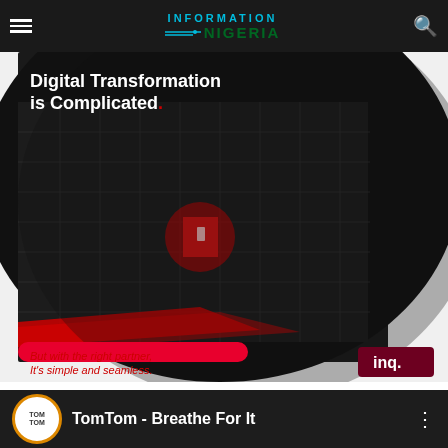Information Nigeria
[Figure (photo): Advertisement banner for inq. digital transformation services. Shows a maze with a figure in red light. Text reads: 'Digital Transformation is Complicated. But with the right partner, It's simple and seamless.' with inq. logo.]
[Figure (screenshot): YouTube video embed showing TomTom - Breathe For It. Black and white thumbnail of a person's face with a red YouTube play button.]